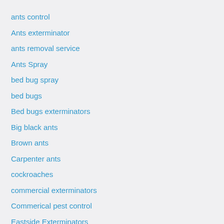ants control
Ants exterminator
ants removal service
Ants Spray
bed bug spray
bed bugs
Bed bugs exterminators
Big black ants
Brown ants
Carpenter ants
cockroaches
commercial exterminators
Commerical pest control
Eastside Exterminators